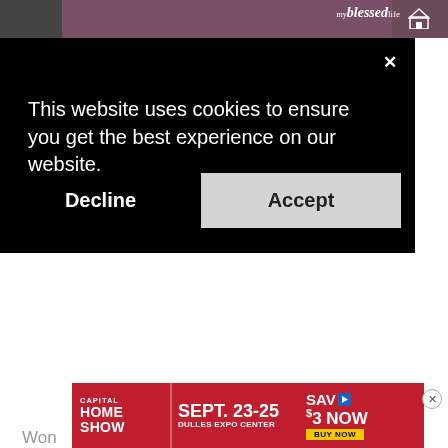[Figure (screenshot): Website header with photo of person with purple hair and 'myblessedlife' logo with home icon]
This website uses cookies to ensure you get the best experience on our website.
Decline
Accept
[pinit count="horizontal"]
[Figure (screenshot): Capital Home Show advertisement banner - SEPT. 23-25 DULLES EXPO CENTER SAV $3 NOW BUY NOW]
Won